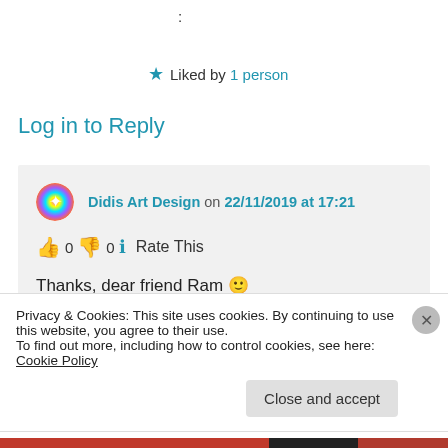:
★ Liked by 1 person
Log in to Reply
Didis Art Design on 22/11/2019 at 17:21
👍 0 👎 0 ℹ Rate This
Thanks, dear friend Ram 🙂
All the best
Didi
Privacy & Cookies: This site uses cookies. By continuing to use this website, you agree to their use.
To find out more, including how to control cookies, see here: Cookie Policy
Close and accept